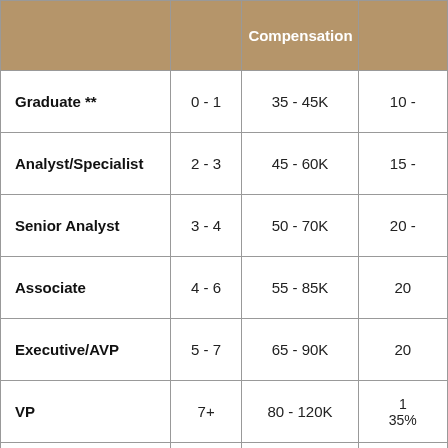|  |  | Compensation |  |
| --- | --- | --- | --- |
| Graduate ** | 0 - 1 | 35 - 45K | 10 - |
| Analyst/Specialist | 2 - 3 | 45 - 60K | 15 - |
| Senior Analyst | 3 - 4 | 50 - 70K | 20 - |
| Associate | 4 - 6 | 55 - 85K | 20 |
| Executive/AVP | 5 - 7 | 65 - 90K | 20 |
| VP | 7+ | 80 - 120K | 1
35% |
|  |  |  |  |